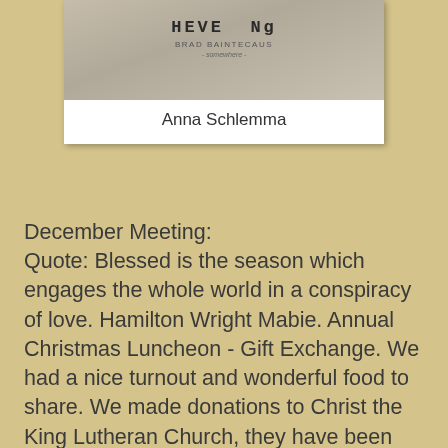[Figure (photo): A photograph showing partial handwritten or printed text, partially visible, with a name caption below reading 'Anna Schlemma']
Anna Schlemma
December Meeting:
Quote: Blessed is the season which engages the whole world in a conspiracy of love. Hamilton Wright Mabie. Annual Christmas Luncheon - Gift Exchange. We had a nice turnout and wonderful food to share. We made donations to Christ the King Lutheran Church, they have been very kind and helpful to the guild. Also, donations to the Food Bank and the Midwest Museum of Art in Elkhart. The theme of the gift exchange was "Christmas" and may made ornaments all beautiful but Jo and Anna were the stars of the exchange! Jo accidentally knocked her garden nozzle in her gift bag, the look on Anna's face was priceless when she pulled it out of